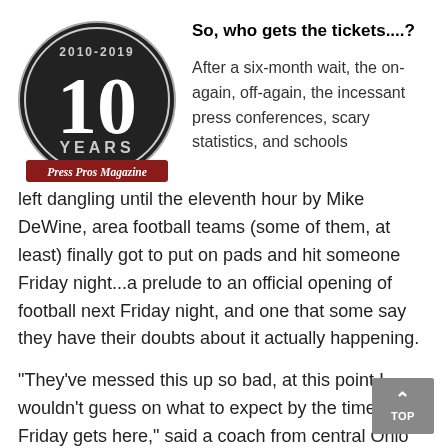[Figure (logo): Press Pros Magazine 10 Years anniversary logo (2010-2019), circular black badge with large '10' and 'YEARS' text, red banner with 'Press Pros Magazine' in white serif font]
So, who gets the tickets....?
After a six-month wait, the on-again, off-again, the incessant press conferences, scary statistics, and schools left dangling until the eleventh hour by Mike DeWine, area football teams (some of them, at least) finally got to put on pads and hit someone Friday night...a prelude to an official opening of football next Friday night, and one that some say they have their doubts about it actually happening.
“They’ve messed this up so bad, at this point I wouldn’t guess on what to expect by the time next Friday gets here,” said a coach from central Ohio